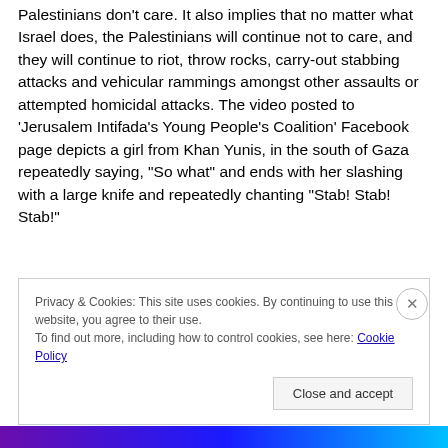Palestinians don't care. It also implies that no matter what Israel does, the Palestinians will continue not to care, and they will continue to riot, throw rocks, carry-out stabbing attacks and vehicular rammings amongst other assaults or attempted homicidal attacks. The video posted to 'Jerusalem Intifada's Young People's Coalition' Facebook page depicts a girl from Khan Yunis, in the south of Gaza repeatedly saying, "So what" and ends with her slashing with a large knife and repeatedly chanting "Stab! Stab! Stab!"
Privacy & Cookies: This site uses cookies. By continuing to use this website, you agree to their use.
To find out more, including how to control cookies, see here: Cookie Policy